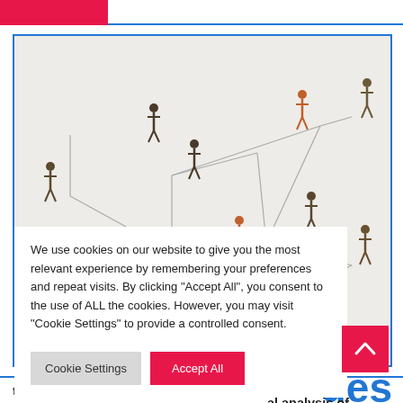[Figure (photo): Overhead view of miniature human figurines connected by lines on a light surface, representing a social or communication network.]
We use cookies on our website to give you the most relevant experience by remembering your preferences and repeat visits. By clicking "Accept All", you consent to the use of ALL the cookies. However, you may visit "Cookie Settings" to provide a controlled consent.
Cookie Settings | Accept All
ues
al analysis of nos is
focusing on, including core ethical dilemmas and